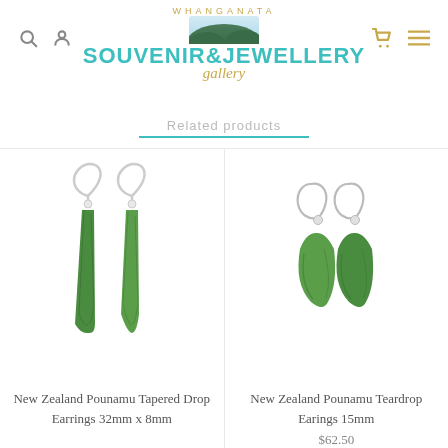[Figure (logo): Whanganata Souvenir & Jewellery Gallery logo with teal text and gold script, landscape photo banner]
Related products
[Figure (photo): New Zealand Pounamu tapered drop earrings showing two long, narrow green jade drops on silver fish-hook wires]
New Zealand Pounamu Tapered Drop Earrings 32mm x 8mm
[Figure (photo): New Zealand Pounamu teardrop earrings showing two small green jade teardrops on silver fish-hook wires]
New Zealand Pounamu Teardrop Earings 15mm
$62.50